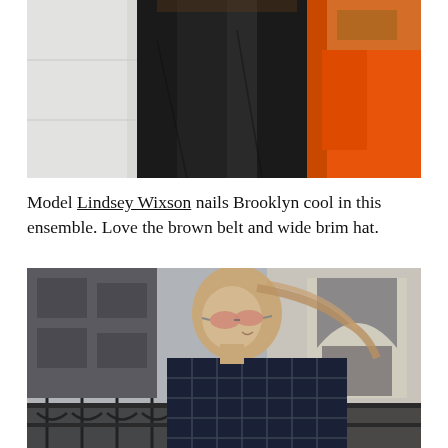[Figure (photo): Close-up fashion photo showing black wide-leg trousers on a model, with an orange structure in the background and white/grey concrete to the left. Partial view of a brown belt and arm visible at top.]
Model Lindsey Wixson nails Brooklyn cool in this ensemble. Love the brown belt and wide brim hat.
[Figure (photo): Street style photo of a blonde woman wearing mirrored sunglasses and a dark navy grid-check oversized shirt, smiling and looking upward. She is standing near a black iron railing with a classical arched building in the background.]